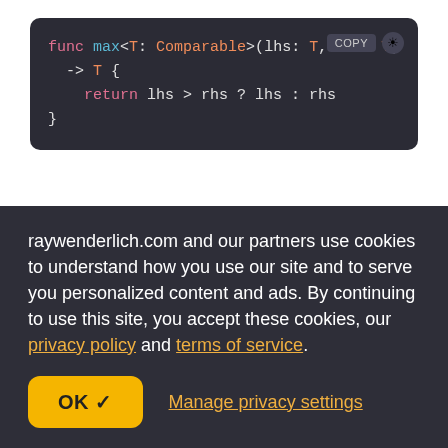[Figure (screenshot): Dark-themed code editor block showing Swift generic function: func max<T: Comparable>(lhs: T, rhs: T) -> T { return lhs > rhs ? lhs : rhs } with COPY button and light mode toggle]
In the example above, you need the ability to compare two values with the > operator. Not every type in Swift can be compared (for example, is one View larger than another?). So you need to specify that T must conform
raywenderlich.com and our partners use cookies to understand how you use our site and to serve you personalized content and ads. By continuing to use this site, you accept these cookies, our privacy policy and terms of service.
OK ✓   Manage privacy settings